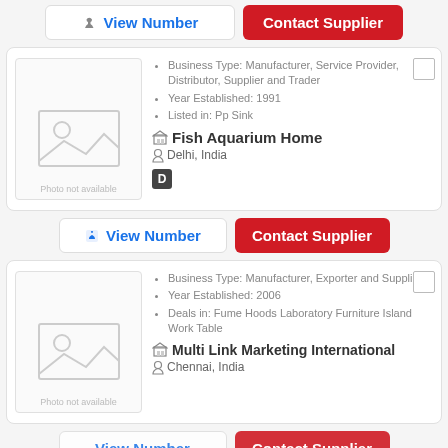[Figure (other): View Number and Contact Supplier buttons at top]
[Figure (photo): Photo not available placeholder image for Fish Aquarium Home]
Business Type: Manufacturer, Service Provider, Distributor, Supplier and Trader
Year Established: 1991
Listed in: Pp Sink
Fish Aquarium Home
Delhi, India
[Figure (other): View Number and Contact Supplier buttons]
[Figure (photo): Photo not available placeholder image for Multi Link Marketing International]
Business Type: Manufacturer, Exporter and Supplier
Year Established: 2006
Deals in: Fume Hoods Laboratory Furniture Island Work Table
Multi Link Marketing International
Chennai, India
[Figure (other): Partial View Number and Contact Supplier buttons at bottom]